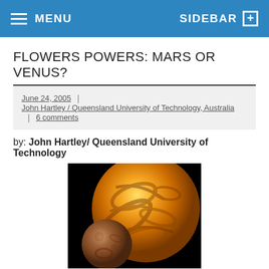MENU  SIDEBAR +
FLOWERS POWERS: MARS OR VENUS?
June 24, 2005 | John Hartley / Queensland University of Technology, Australia | 6 comments
by: John Hartley/ Queensland University of Technology
[Figure (photo): Image of Venus (large, orange-yellow planet) and Mars (smaller, reddish-brown planet) side by side against a black background.]